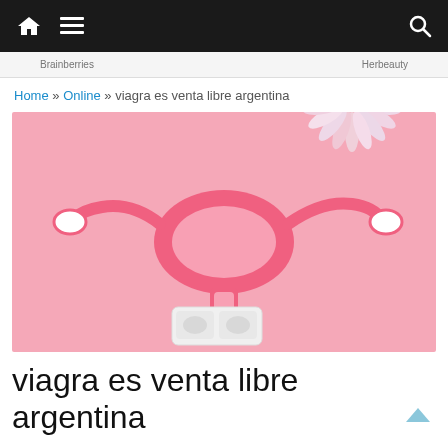Navigation bar with home, menu, and search icons
Brainberries · Herbeauty
Home » Online » viagra es venta libre argentina
[Figure (photo): Pink background with a paper craft anatomical uterus model in pink and white, a blister pack of pills, and decorative white and pink flowers in the upper right corner.]
viagra es venta libre argentina